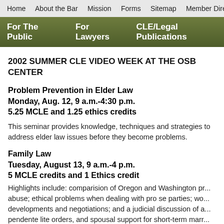Home   About the Bar   Mission   Forms   Sitemap   Member Dire
For The Public   For Lawyers   CLE/Legal Publications
2002 SUMMER CLE VIDEO WEEK AT THE OSB CENTER
Problem Prevention in Elder Law
Monday, Aug. 12, 9 a.m.-4:30 p.m.
5.25 MCLE and 1.25 ethics credits
This seminar provides knowledge, techniques and strategies to address elder law issues before they become problems.
Family Law
Tuesday, August 13, 9 a.m.-4 p.m.
5 MCLE credits and 1 Ethics credit
Highlights include: comparision of Oregon and Washington p... abuse; ethical problems when dealing with pro se parties; wo... developments and negotiations; and a judicial discussion of a... pendente lite orders, and spousal support for short-term marr...
Advising Non-profit Organizations